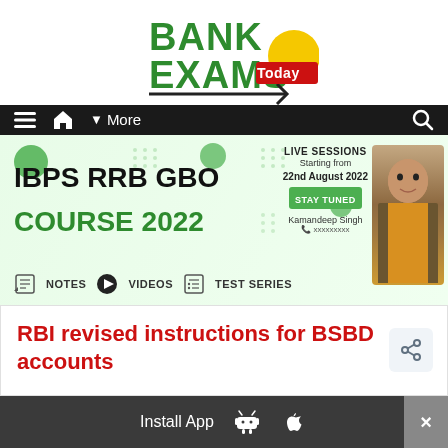[Figure (logo): Bank Exams Today logo with green BANK text, yellow circle, and red Today badge]
[Figure (infographic): Navigation bar with hamburger menu, home icon, More dropdown, and search icon on dark background]
[Figure (infographic): IBPS RRB GBO Course 2022 banner with Live Sessions starting 22nd August 2022, Notes, Videos, Test Series icons, and instructor photo]
RBI revised instructions for BSBD accounts
[Figure (infographic): Install App bar with Android and Apple icons and close button]